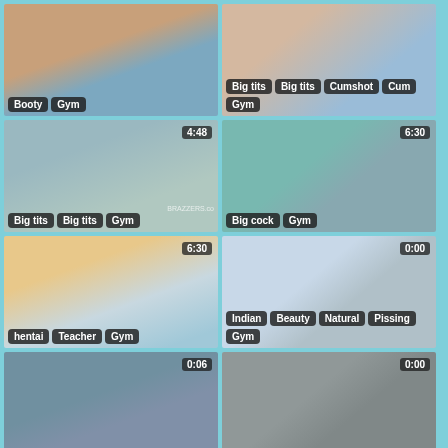[Figure (screenshot): Video thumbnail grid - row 1 left: Booty, Gym tags]
[Figure (screenshot): Video thumbnail grid - row 1 right: Big tits, Big tits, Cumshot, Cum, Gym tags]
[Figure (screenshot): Video thumbnail grid - row 2 left: 4:48, Big tits, Big tits, Gym tags]
[Figure (screenshot): Video thumbnail grid - row 2 right: 6:30, Big cock, Gym tags]
[Figure (screenshot): Video thumbnail grid - row 3 left: 6:30, hentai, Teacher, Gym tags]
[Figure (screenshot): Video thumbnail grid - row 3 right: 0:00, Indian, Beauty, Natural, Pissing, Gym tags]
[Figure (screenshot): Video thumbnail grid - row 4 left: 0:06]
[Figure (screenshot): Video thumbnail grid - row 4 right: 0:00]